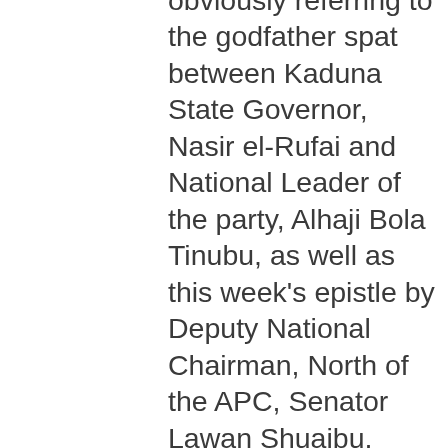obviously referring to the godfather spat between Kaduna State Governor, Nasir el-Rufai and National Leader of the party, Alhaji Bola Tinubu, as well as this week's epistle by Deputy National Chairman, North of the APC, Senator Lawan Shuaibu, asking the party's National Chairman, Adams Oshiomhole, to resign